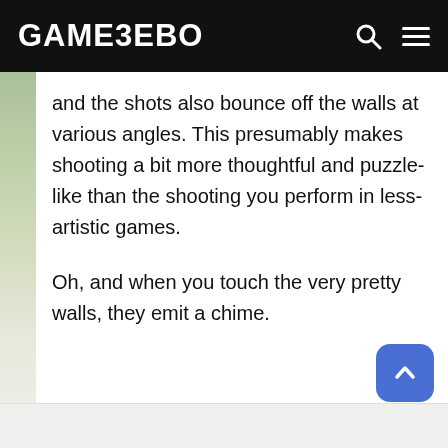GAMEZEBO
and the shots also bounce off the walls at various angles. This presumably makes shooting a bit more thoughtful and puzzle-like than the shooting you perform in less-artistic games.
Oh, and when you touch the very pretty walls, they emit a chime.